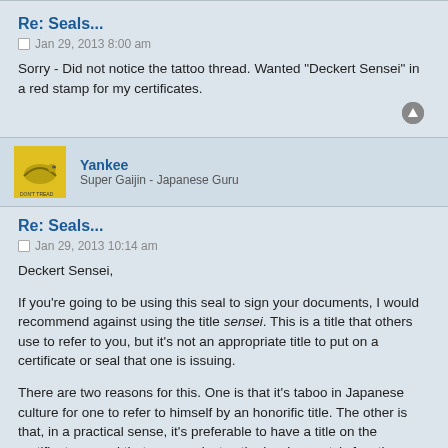Re: Seals...
Jan 29, 2013 8:00 am
Sorry - Did not notice the tattoo thread. Wanted "Deckert Sensei" in a red stamp for my certificates.
Yankee
Super Gaijin - Japanese Guru
Re: Seals...
Jan 29, 2013 10:14 am
Deckert Sensei,
If you're going to be using this seal to sign your documents, I would recommend against using the title sensei. This is a title that others use to refer to you, but it's not an appropriate title to put on a certificate or seal that one is issuing.
There are two reasons for this. One is that it's taboo in Japanese culture for one to refer to himself by an honorific title. The other is that, in a practical sense, it's preferable to have a title on the certificate or seal that communicates the issuing party's function within the school or